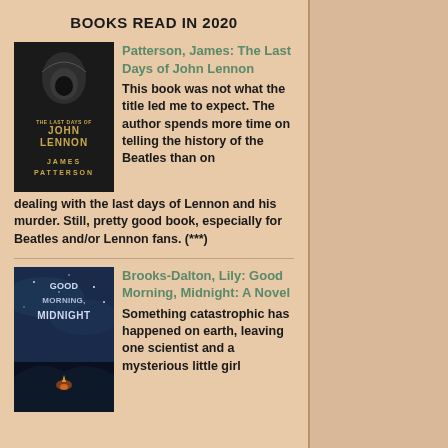BOOKS READ IN 2020
[Figure (illustration): Book cover of 'The Last Days of John Lennon' by James Patterson — dark background with a hooded figure, title in gold lettering]
Patterson, James: The Last Days of John Lennon
This book was not what the title led me to expect. The author spends more time on telling the history of the Beatles than on dealing with the last days of Lennon and his murder. Still, pretty good book, especially for Beatles and/or Lennon fans. (***)
[Figure (illustration): Book cover of 'Good Morning, Midnight: A Novel' by Lily Brooks-Dalton — dark blue night sky with stars and a glowing campfire at the bottom]
Brooks-Dalton, Lily: Good Morning, Midnight: A Novel
Something catastrophic has happened on earth, leaving one scientist and a mysterious little girl